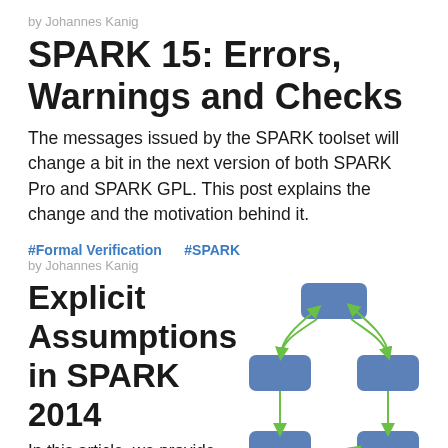by Johannes Kanig
SPARK 15: Errors, Warnings and Checks
The messages issued by the SPARK toolset will change a bit in the next version of both SPARK Pro and SPARK GPL. This post explains the change and the motivation behind it.
#Formal Verification   #SPARK
by Johannes Kanig
Explicit Assumptions in SPARK 2014
In this article, we provide
[Figure (flowchart): A flowchart diagram with blue rounded rectangles connected by green arrows, showing a hierarchy of nodes with bidirectional connections.]